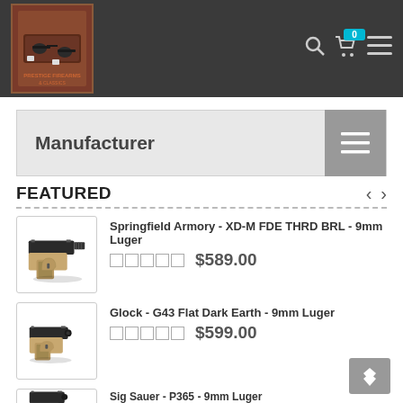[Figure (screenshot): E-commerce website header with logo image of antique revolvers in a case, search icon, cart icon with badge showing 0, and hamburger menu icon on dark gray background]
Manufacturer
FEATURED
[Figure (photo): Springfield Armory XD-M FDE pistol with threaded barrel, tan/FDE frame]
Springfield Armory - XD-M FDE THRD BRL - 9mm Luger
$589.00
[Figure (photo): Glock G43 Flat Dark Earth pistol, compact 9mm]
Glock - G43 Flat Dark Earth - 9mm Luger
$599.00
Sig Sauer - P365 - 9mm Luger